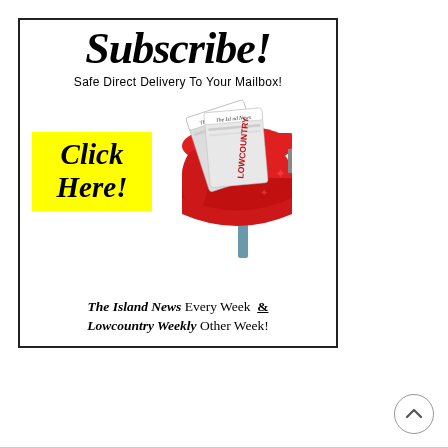Subscribe!
Safe Direct Delivery To Your Mailbox!
[Figure (illustration): Red mailbox with newspapers (The Island News and Lowcountry Weekly) sticking out, with a yellow 'Click Here!' button overlaid on the left]
The Island News Every Week  &  Lowcountry Weekly Other Week!